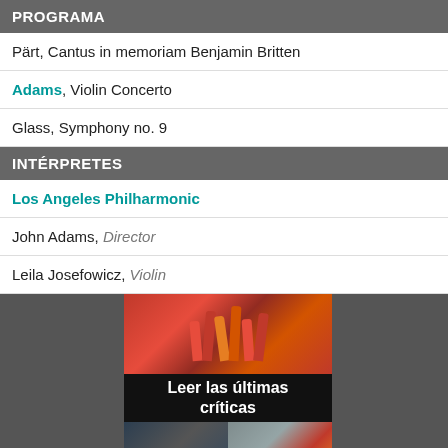PROGRAMA
Pärt, Cantus in memoriam Benjamin Britten
Adams, Violin Concerto
Glass, Symphony no. 9
INTÉRPRETES
Los Angeles Philharmonic
John Adams, Director
Leila Josefowicz, Violin
[Figure (photo): Banner image with dancers performance photo on top, bold text 'Leer las últimas críticas' in center, and two photos on bottom showing a conductor and an orchestra]